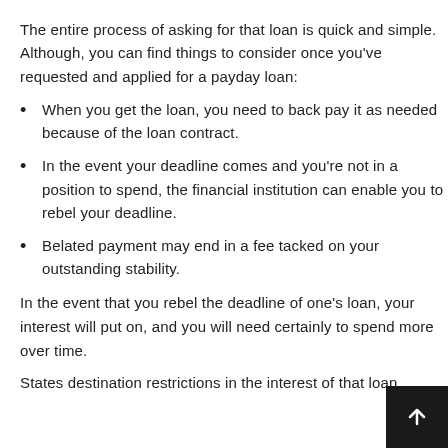The entire process of asking for that loan is quick and simple. Although, you can find things to consider once you've requested and applied for a payday loan:
When you get the loan, you need to back pay it as needed because of the loan contract.
In the event your deadline comes and you're not in a position to spend, the financial institution can enable you to rebel your deadline.
Belated payment may end in a fee tacked on your outstanding stability.
In the event that you rebel the deadline of one's loan, your interest will put on, and you will need certainly to spend more over time.
States destination restrictions in the interest of that loan.